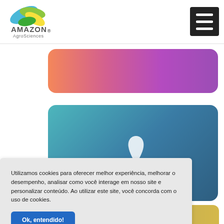[Figure (logo): Amazon AgroSciences logo with colorful leaf graphic above the text]
[Figure (other): Hamburger menu icon (three horizontal white lines on dark background)]
[Figure (other): Pink to purple gradient rounded rectangle card]
[Figure (other): Teal/blue gradient rounded rectangle card with small white shape icon]
Utilizamos cookies para oferecer melhor experiência, melhorar o desempenho, analisar como você interage em nosso site e personalizar conteúdo. Ao utilizar este site, você concorda com o uso de cookies.
[Figure (other): Blue 'Ok, entendido!' button]
[Figure (other): Gold/yellow gradient rounded rectangle card (partially visible at bottom)]